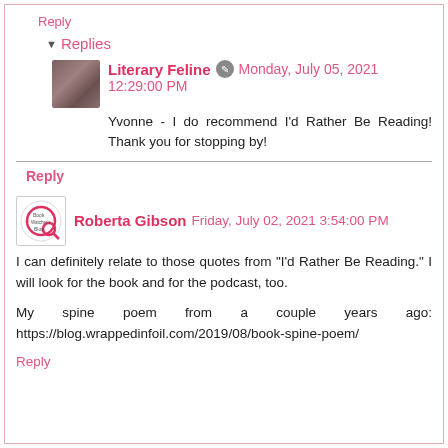Reply
Replies
Literary Feline  Monday, July 05, 2021 12:29:00 PM
Yvonne - I do recommend I'd Rather Be Reading! Thank you for stopping by!
Reply
Roberta Gibson  Friday, July 02, 2021 3:54:00 PM
I can definitely relate to those quotes from "I'd Rather Be Reading." I will look for the book and for the podcast, too.
My spine poem from a couple years ago: https://blog.wrappedinfoil.com/2019/08/book-spine-poem/
Reply